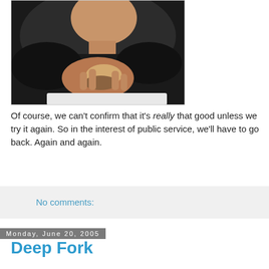[Figure (photo): A man in a black shirt eating a burger or sandwich, photographed from above at close range.]
Of course, we can't confirm that it's really that good unless we try it again. So in the interest of public service, we'll have to go back. Again and again.
No comments:
Monday, June 20, 2005
Deep Fork
At a super-secret meeting in an undisclosed location, an anonymous source from the inside circle of the Grandmother adminstration and her accomplice leaked information on